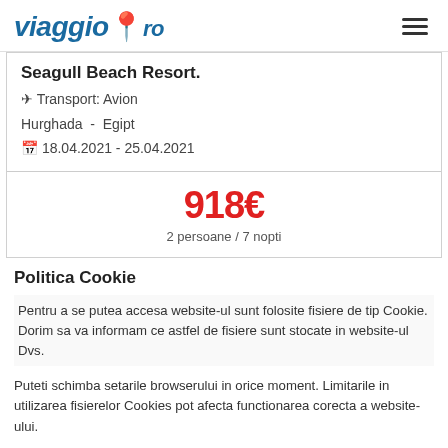viaggio.ro
Seagull Beach Resort.
✈ Transport: Avion
Hurghada - Egipt
📅 18.04.2021 - 25.04.2021
918€
2 persoane / 7 nopti
Politica Cookie
Pentru a se putea accesa website-ul sunt folosite fisiere de tip Cookie. Dorim sa va informam ce astfel de fisiere sunt stocate in website-ul Dvs.
Puteti schimba setarile browserului in orice moment. Limitarile in utilizarea fisierelor Cookies pot afecta functionarea corecta a website-ului.
Sunt de acord